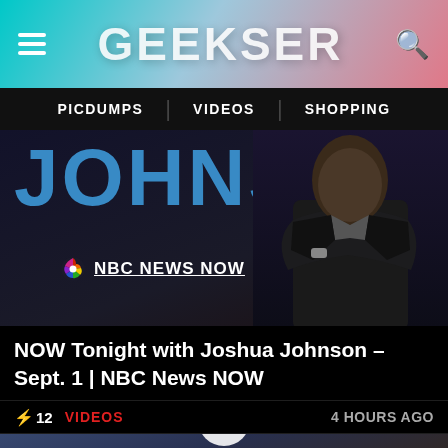GEEKSER
PICDUMPS | VIDEOS | SHOPPING
[Figure (screenshot): NBC News NOW promotional thumbnail showing JOHNSON text in large blue letters, NBC News NOW logo, and a man in a suit with arms crossed against dark background]
NOW Tonight with Joshua Johnson – Sept. 1 | NBC News NOW
⚡ 12   VIDEOS   4 HOURS AGO
[Figure (screenshot): Video thumbnail showing a woman with dark hair with a play button circle overlay, bluish indoor background]